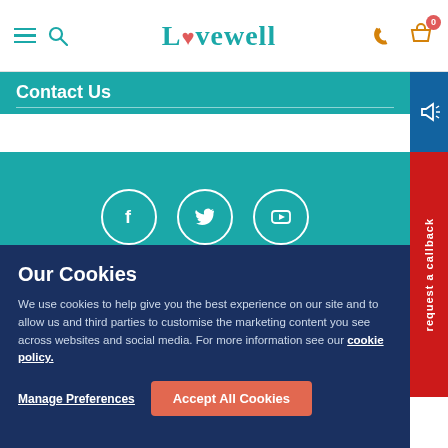Livewell
Contact Us
[Figure (illustration): Social media icons: Facebook, Twitter, YouTube in white circles on teal background]
We Accept All Major Credit & Debit Cards
[Figure (illustration): Payment card logos: VISA, Mastercard, Maestro, Solo, Laser, American Express, PayPal]
Our Cookies
We use cookies to help give you the best experience on our site and to allow us and third parties to customise the marketing content you see across websites and social media. For more information see our cookie policy.
Manage Preferences
Accept All Cookies